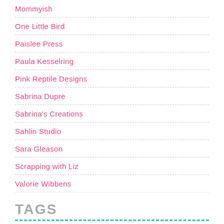Mommyish
One Little Bird
Paislee Press
Paula Kesselring
Pink Reptile Designs
Sabrina Dupre
Sabrina's Creations
Sahlin Studio
Sara Gleason
Scrapping with Liz
Valorie Wibbens
TAGS
art journalBehind the DesignBYOCcardchallengescraftscrafts for kids digital scrapbookingDocument Your